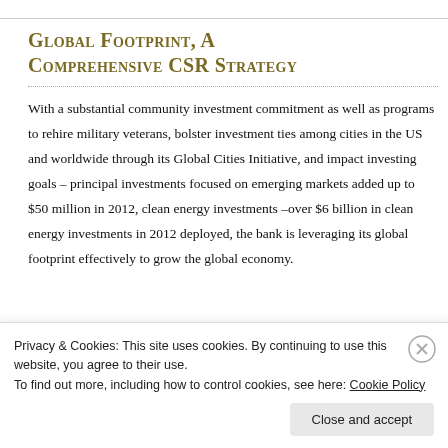Global Footprint, A Comprehensive CSR Strategy
With a substantial community investment commitment as well as programs to rehire military veterans, bolster investment ties among cities in the US and worldwide through its Global Cities Initiative, and impact investing goals – principal investments focused on emerging markets added up to $50 million in 2012, clean energy investments –over $6 billion in clean energy investments in 2012 deployed, the bank is leveraging its global footprint effectively to grow the global economy.
Privacy & Cookies: This site uses cookies. By continuing to use this website, you agree to their use.
To find out more, including how to control cookies, see here: Cookie Policy
Close and accept